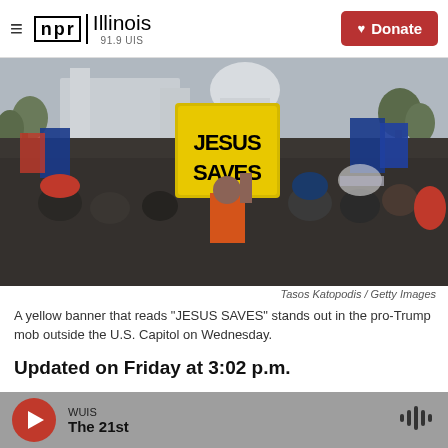NPR Illinois 91.9 UIS | Donate
[Figure (photo): A crowd scene at the U.S. Capitol with a person holding a large yellow sign reading 'JESUS SAVES', surrounded by pro-Trump supporters with flags, on January 6, 2021.]
Tasos Katopodis / Getty Images
A yellow banner that reads "JESUS SAVES" stands out in the pro-Trump mob outside the U.S. Capitol on Wednesday.
Updated on Friday at 3:02 p.m.
WUIS The 21st